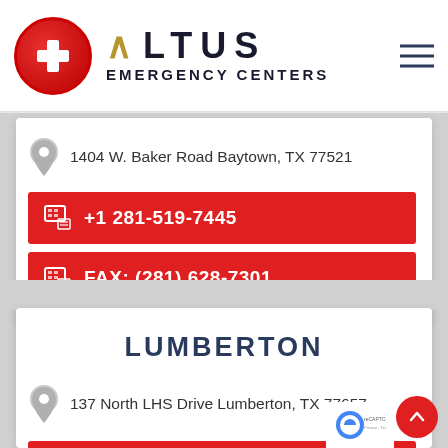[Figure (logo): Altus Emergency Centers logo with red cross circle and ALTUS text with golden A]
1404 W. Baker Road Baytown, TX 77521
+1 281-519-7445
FAX: (281) 628-7301
LUMBERTON
137 North LHS Drive Lumberton, TX 77657
+1 409-440-3621